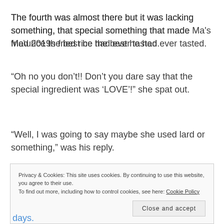The fourth was almost there but it was lacking something, that special something that made Ma’s fried rice the best he had ever tasted.
“Oh no you don’t!! Don’t you dare say that the special ingredient was ‘LOVE’!” she spat out.
“Well, I was going to say maybe she used lard or something,” was his reply.
“Oh.”
Privacy & Cookies: This site uses cookies. By continuing to use this website, you agree to their use.
To find out more, including how to control cookies, see here: Cookie Policy
Close and accept
days.